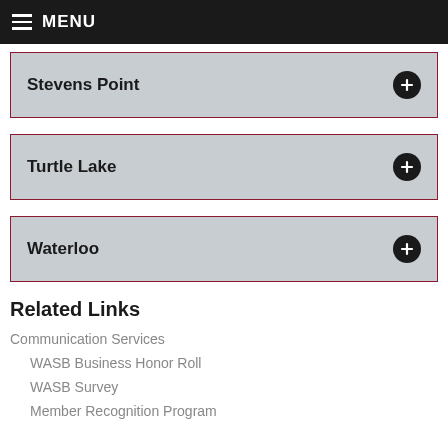MENU
Stevens Point
Turtle Lake
Waterloo
Related Links
Communication Services
WASB Business Honor Roll
WASB Survey
Member Recognition Program